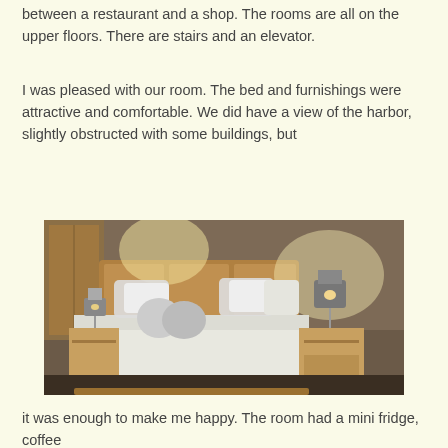between a restaurant and a shop. The rooms are all on the upper floors. There are stairs and an elevator.
I was pleased with our room. The bed and furnishings were attractive and comfortable. We did have a view of the harbor, slightly obstructed with some buildings, but
[Figure (photo): Hotel room interior showing a double bed with white linens and decorative round pillows, wooden headboard, two nightstands with lamps, warm ambient lighting.]
it was enough to make me happy. The room had a mini fridge, coffee